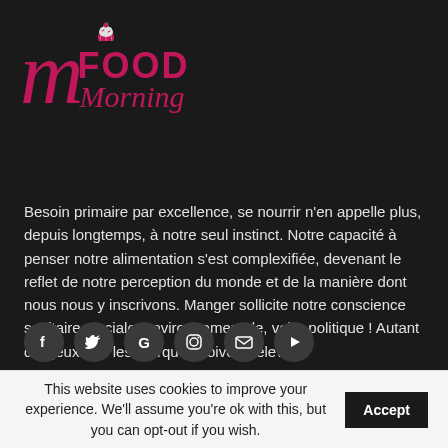[Figure (logo): The Food Morning logo: large italic pink M with FOOD in bold pink and Morning in italic pink cursive, with a cupcake icon above]
Besoin primaire par excellence, se nourrir n'en appelle plus, depuis longtemps, à notre seul instinct. Notre capacité à penser notre alimentation s'est complexifiée, devenant le reflet de notre perception du monde et de la manière dont nous nous y inscrivons. Manger sollicite notre conscience sanitaire, sociale, environnementale, voire politique ! Autant d'enjeux que les marques doivent relever.
[Figure (infographic): Row of 6 circular social media icon buttons: Facebook (f), Twitter (bird), Google (G), Instagram (camera), Email (envelope), YouTube (play)]
This website uses cookies to improve your experience. We'll assume you're ok with this, but you can opt-out if you wish.  Accept